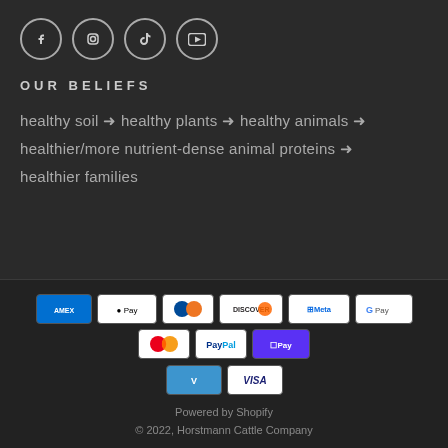[Figure (other): Social media icons: Facebook, Instagram, TikTok, YouTube — circular outlined icons]
OUR BELIEFS
healthy soil → healthy plants → healthy animals → healthier/more nutrient-dense animal proteins → healthier families
[Figure (other): Payment method icons: AMEX, Apple Pay, Diners Club, Discover, Meta Pay, Google Pay, Mastercard, PayPal, Shop Pay, Venmo, Visa]
Powered by Shopify
© 2022, Horstmann Cattle Company